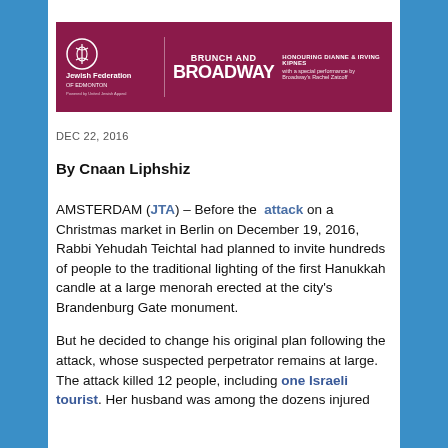[Figure (other): Advertisement banner for Jewish Federation of Edmonton: Brunch and Broadway event, honouring Dianne & Irving Kipnes with a special performance by Broadway's Rachel Zatcoff]
DEC 22, 2016
By Cnaan Liphshiz
AMSTERDAM (JTA) – Before the attack on a Christmas market in Berlin on December 19, 2016, Rabbi Yehudah Teichtal had planned to invite hundreds of people to the traditional lighting of the first Hanukkah candle at a large menorah erected at the city's Brandenburg Gate monument.
But he decided to change his original plan following the attack, whose suspected perpetrator remains at large. The attack killed 12 people, including one Israeli tourist. Her husband was among the dozens injured